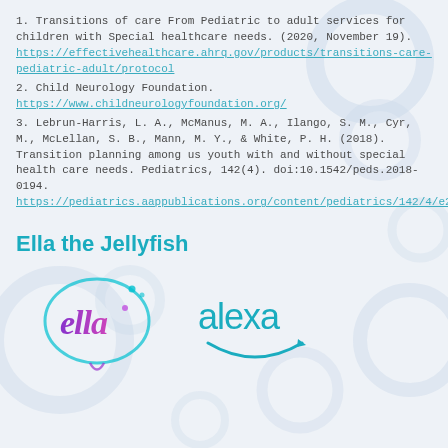1. Transitions of care From Pediatric to adult services for children with Special healthcare needs. (2020, November 19). https://effectivehealthcare.ahrq.gov/products/transitions-care-pediatric-adult/protocol
2. Child Neurology Foundation. https://www.childneurologyfoundation.org/
3. Lebrun-Harris, L. A., McManus, M. A., Ilango, S. M., Cyr, M., McLellan, S. B., Mann, M. Y., & White, P. H. (2018). Transition planning among us youth with and without special health care needs. Pediatrics, 142(4). doi:10.1542/peds.2018-0194. https://pediatrics.aappublications.org/content/pediatrics/142/4/e20180194.full.pdf
Ella the Jellyfish
[Figure (logo): Ella jellyfish logo in purple/teal cursive font alongside Amazon Alexa logo in teal]